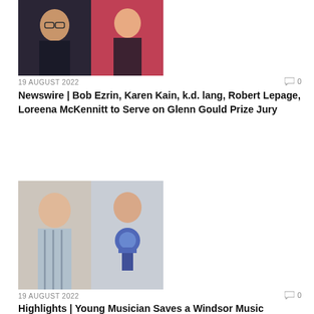[Figure (photo): Two people, one wearing glasses, one in dark jacket]
19 AUGUST 2022
0
Newswire | Bob Ezrin, Karen Kain, k.d. lang, Robert Lepage, Loreena McKennitt to Serve on Glenn Gould Prize Jury
[Figure (photo): Two people, one in patterned shirt, one holding something blue]
19 AUGUST 2022
0
Highlights | Young Musician Saves a Windsor Music School, Kaboom Festival Cancelled, New MMFA Inuit Music Exhibit
[Figure (photo): Person with blue/teal hair, rating badge 4.0]
19 AUGUST 2022
1